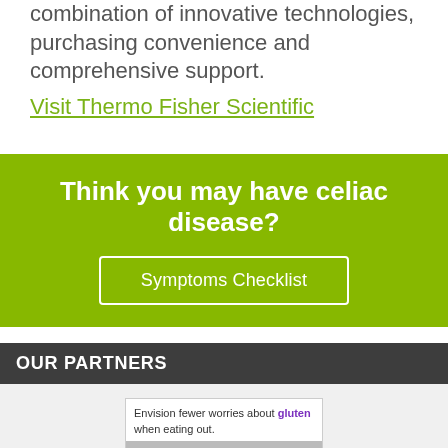combination of innovative technologies, purchasing convenience and comprehensive support.
Visit Thermo Fisher Scientific
Think you may have celiac disease?
Symptoms Checklist
OUR PARTNERS
[Figure (photo): Partner advertisement showing text 'Envision fewer worries about gluten when eating out.' with an image of people dining, and a blue diagonal stripe.]